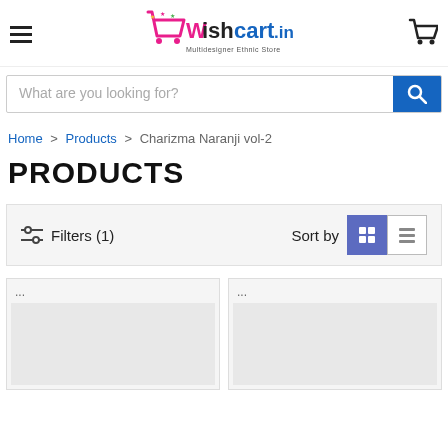Wishcart.in — Multidesigner Ethnic Store
What are you looking for?
Home > Products > Charizma Naranji vol-2
PRODUCTS
Filters (1)   Sort by
[Figure (screenshot): Two product card placeholders with ellipsis menus]
...
...